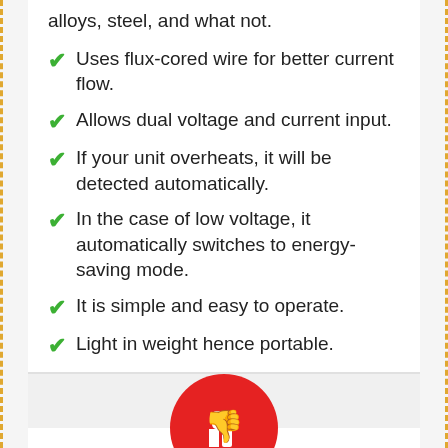alloys, steel, and what not.
Uses flux-cored wire for better current flow.
Allows dual voltage and current input.
If your unit overheats, it will be detected automatically.
In the case of low voltage, it automatically switches to energy-saving mode.
It is simple and easy to operate.
Light in weight hence portable.
[Figure (illustration): Red circle with white thumbs-down icon]